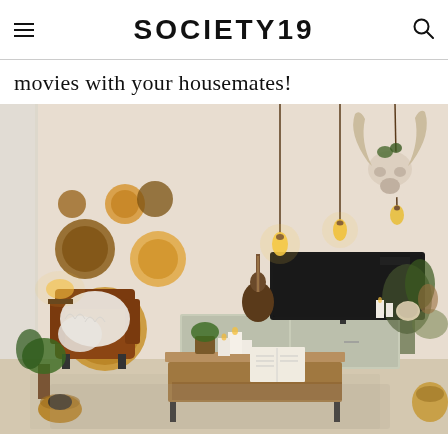SOCIETY19
movies with your housemates!
[Figure (photo): Bohemian-style living room with wicker wall decorations, hanging Edison bulb pendant lights, a flat-screen TV on a low cabinet, a guitar, leather chair with fur throw, coffee table with candles and an open book, potted plants, and a bull skull mounted on the wall.]